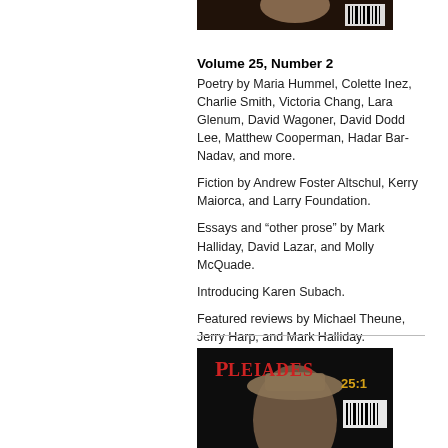[Figure (photo): Top portion of a Pleiades magazine cover showing a person, partially cropped]
Volume 25, Number 2
Poetry by Maria Hummel, Colette Inez, Charlie Smith, Victoria Chang, Lara Glenum, David Wagoner, David Dodd Lee, Matthew Cooperman, Hadar Bar-Nadav, and more.
Fiction by Andrew Foster Altschul, Kerry Maiorca, and Larry Foundation.
Essays and “other prose” by Mark Halliday, David Lazar, and Molly McQuade.
Introducing Karen Subach.
Featured reviews by Michael Theune, Jerry Harp, and Mark Halliday.
[Figure (photo): Pleiades literary magazine cover 25:1, showing a person wearing a hat against a dark background with the Pleiades logo in red and gold text]